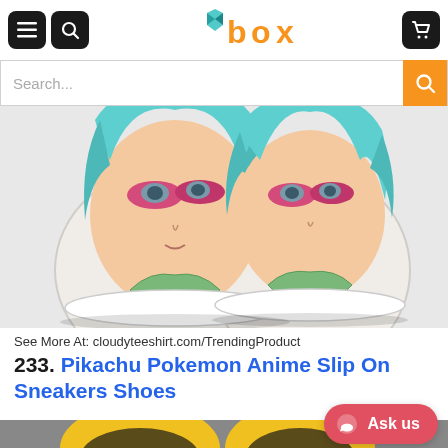box (logo) — navigation header with menu, search, and cart icons
[Figure (screenshot): Search bar with 'Search...' placeholder and orange search button]
[Figure (photo): Two custom anime slip-on sneaker shoes top view showing anime character face with teal hair and pink eye mask printed on them]
See More At: cloudyteeshirt.com/TrendingProduct
233. Pikachu Pokemon Anime Slip On Sneakers Shoes
[Figure (photo): Bottom portion of another shoe product image showing yellow/black Pokemon themed sneakers on grey background]
Ask us